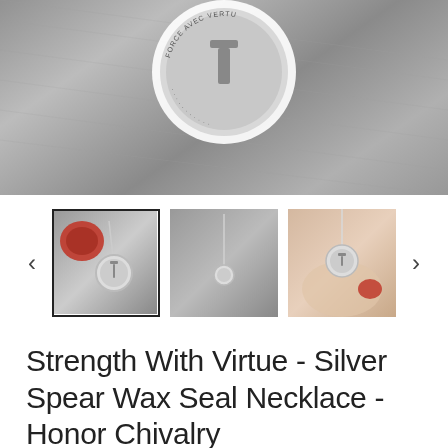[Figure (photo): Close-up photo of a silver wax seal necklace on gray denim fabric background. The seal shows a spear motif with text around the edge reading 'FORCE AVEC VERTU'.]
[Figure (photo): Three product thumbnail images in a row with left and right navigation arrows. First thumbnail (selected, with border) shows necklace with red wax seal and silver pendant. Second thumbnail shows a close-up gray toned photo of the necklace. Third thumbnail shows a hand holding the necklace pendant with a red wax piece.]
Strength With Virtue - Silver Spear Wax Seal Necklace - Honor Chivalry
$66.00